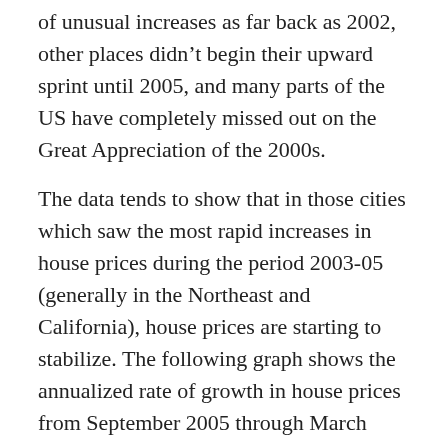of unusual increases as far back as 2002, other places didn't begin their upward sprint until 2005, and many parts of the US have completely missed out on the Great Appreciation of the 2000s.
The data tends to show that in those cities which saw the most rapid increases in house prices during the period 2003-05 (generally in the Northeast and California), house prices are starting to stabilize. The following graph shows the annualized rate of growth in house prices from September 2005 through March 2006, as measured by OFHEO's House Price Index.
[Figure (other): Broken image placeholder (small icon) for a graph showing annualized rate of growth in house prices from September 2005 through March 2006 as measured by OFHEO's House Price Index.]